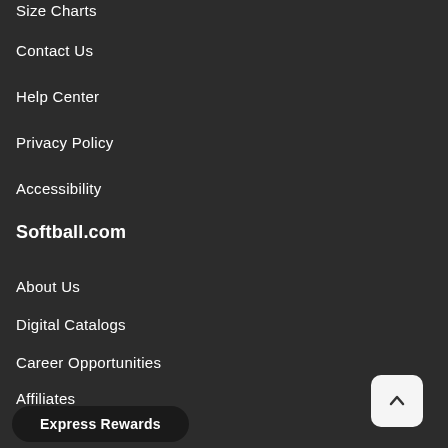Size Charts
Contact Us
Help Center
Privacy Policy
Accessibility
Softball.com
About Us
Digital Catalogs
Career Opportunities
Affiliates
Store Location
Express Rewards